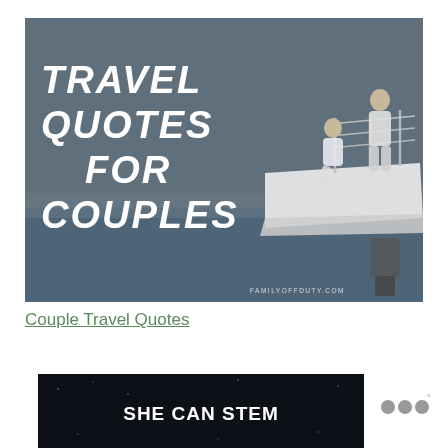[Figure (photo): A couple sitting on the stern of a yacht on calm water. Bold white italic text overlaid on left side reads: TRAVEL QUOTES FOR COUPLES. Watermark at bottom reads FAMILYOFFDUTY.COM. Dark overlay on image.]
Couple Travel Quotes
[Figure (photo): Dark card with text SHE CAN STEM in bold white capitals on a dark/starfield background.]
[Figure (logo): Three grey dots arranged in a row with a small superscript degree symbol, resembling the Wordpress or similar logo mark.]